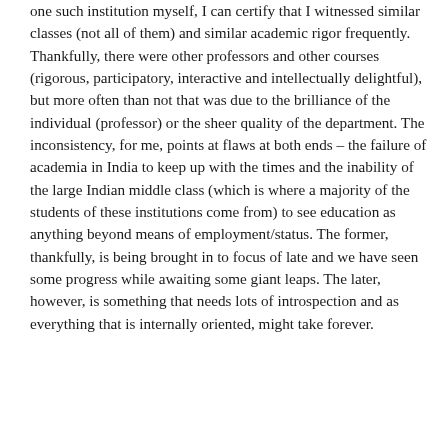one such institution myself, I can certify that I witnessed similar classes (not all of them) and similar academic rigor frequently. Thankfully, there were other professors and other courses (rigorous, participatory, interactive and intellectually delightful), but more often than not that was due to the brilliance of the individual (professor) or the sheer quality of the department. The inconsistency, for me, points at flaws at both ends – the failure of academia in India to keep up with the times and the inability of the large Indian middle class (which is where a majority of the students of these institutions come from) to see education as anything beyond means of employment/status. The former, thankfully, is being brought in to focus of late and we have seen some progress while awaiting some giant leaps. The later, however, is something that needs lots of introspection and as everything that is internally oriented, might take forever.